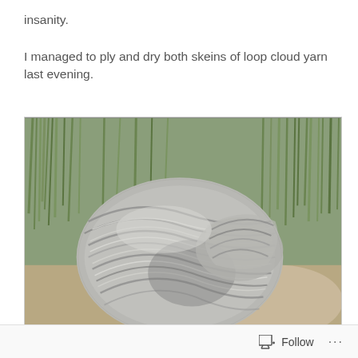insanity.
I managed to ply and dry both skeins of loop cloud yarn last evening.
[Figure (photo): A skein of hand-spun grey and white plied yarn resting on a rocky surface with green grass in the background.]
Follow  ...